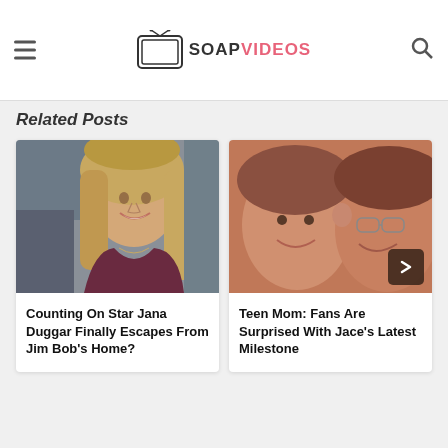TV SOAP VIDEOS
Related Posts
[Figure (photo): Photo of a smiling blonde woman (Jana Duggar) with long wavy hair]
Counting On Star Jana Duggar Finally Escapes From Jim Bob's Home?
[Figure (photo): Close-up photo of two young children (Jace and another child) smiling, with an arrow/next button overlay]
Teen Mom: Fans Are Surprised With Jace's Latest Milestone